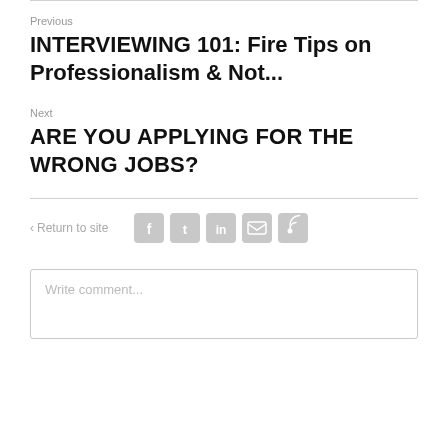Previous
INTERVIEWING 101: Fire Tips on Professionalism & Not...
Next
ARE YOU APPLYING FOR THE WRONG JOBS?
< Return to site
[Figure (other): Social media share icons: Facebook, Twitter, LinkedIn, Email, RSS]
Write comment...